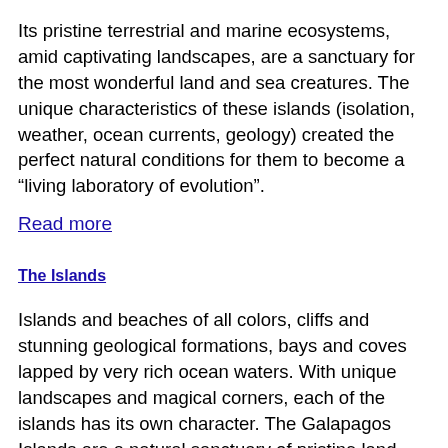Its pristine terrestrial and marine ecosystems, amid captivating landscapes, are a sanctuary for the most wonderful land and sea creatures. The unique characteristics of these islands (isolation, weather, ocean currents, geology) created the perfect natural conditions for them to become a “living laboratory of evolution”.
Read more
The Islands
Islands and beaches of all colors, cliffs and stunning geological formations, bays and coves lapped by very rich ocean waters. With unique landscapes and magical corners, each of the islands has its own character. The Galapagos Islands are a natural sanctuary of pristine land and marine ecosystems isolated in the vast ocean. Visiting them is like being transported to a bygone era.
Read more
Unique Wildlife
The islands where their unusual high percentage of endemic animals (animals found nowhere else on the planet) will captivate you with their truly unique and fascinating forms, behavior and